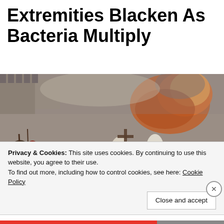Extremities Blacken As Bacteria Multiply
[Figure (illustration): Historical painting depicting a plague or pestilence scene with many figures in distress, fire in the background, medieval setting with city walls]
Privacy & Cookies: This site uses cookies. By continuing to use this website, you agree to their use.
To find out more, including how to control cookies, see here: Cookie Policy
Close and accept